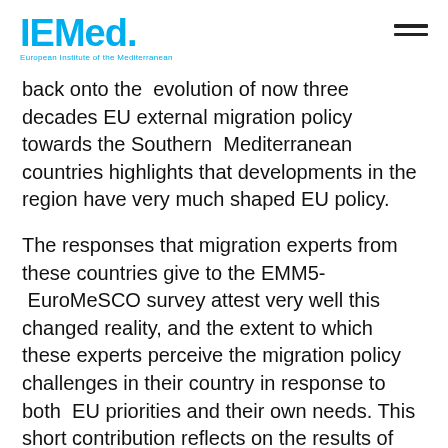IEMed. European Institute of the Mediterranean
back onto the evolution of now three decades EU external migration policy towards the Southern Mediterranean countries highlights that developments in the region have very much shaped EU policy.
The responses that migration experts from these countries give to the EMM5- EuroMeSCO survey attest very well this changed reality, and the extent to which these experts perceive the migration policy challenges in their country in response to both EU priorities and their own needs. This short contribution reflects on the results of the survey in the light of the influence that cooperation with the Southern Mediterranean countries has shaped the